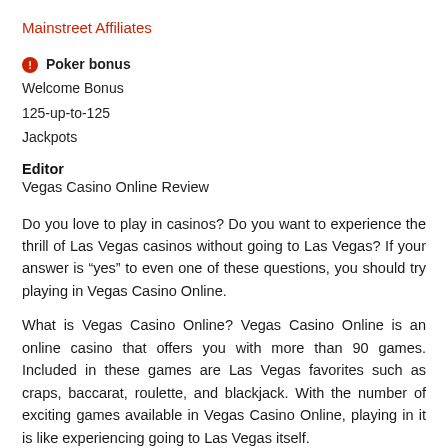Mainstreet Affiliates
🔴 Poker bonus
Welcome Bonus
125-up-to-125
Jackpots
Editor
Vegas Casino Online Review
Do you love to play in casinos? Do you want to experience the thrill of Las Vegas casinos without going to Las Vegas? If your answer is “yes” to even one of these questions, you should try playing in Vegas Casino Online.
What is Vegas Casino Online? Vegas Casino Online is an online casino that offers you with more than 90 games. Included in these games are Las Vegas favorites such as craps, baccarat, roulette, and blackjack. With the number of exciting games available in Vegas Casino Online, playing in it is like experiencing going to Las Vegas itself.